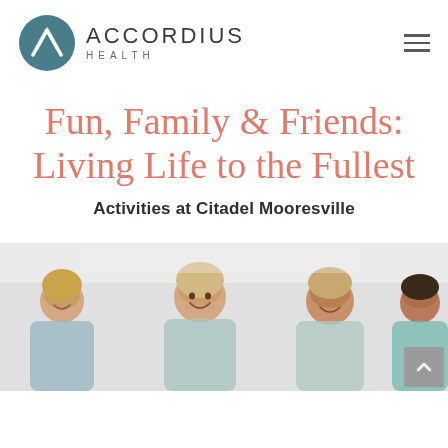[Figure (logo): Accordius Health logo: teal circle with stylized A letter, next to text 'ACCORDIUS HEALTH']
Fun, Family & Friends: Living Life to the Fullest
Activities at Citadel Mooresville
[Figure (photo): Photo of three older women smiling and laughing together, appearing to be engaged in an activity at a senior care facility]